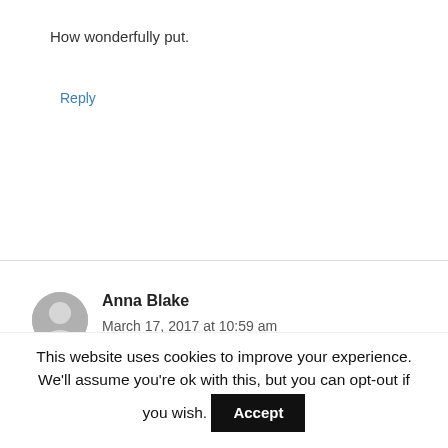How wonderfully put.
Reply
Anna Blake
March 17, 2017 at 10:59 am
Thank you… I love your name.
Reply
This website uses cookies to improve your experience. We'll assume you're ok with this, but you can opt-out if you wish. Accept